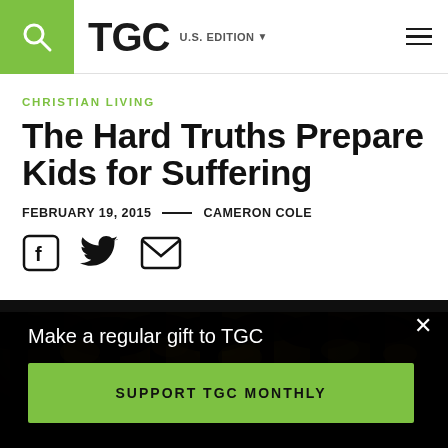TGC U.S. EDITION
CHRISTIAN LIVING
The Hard Truths Prepare Kids for Suffering
FEBRUARY 19, 2015 — CAMERON COLE
[Figure (photo): Dark nighttime photo of trees with dark forest canopy, gold-lit leaves visible through branches]
Make a regular gift to TGC
SUPPORT TGC MONTHLY